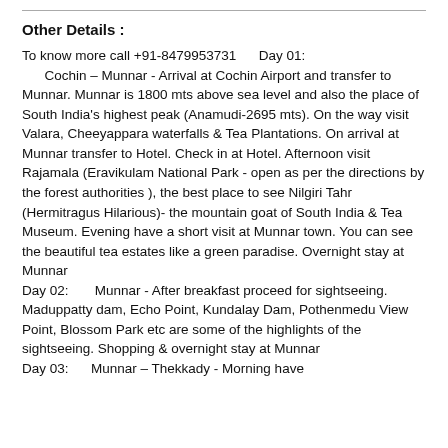Other Details :
To know more call +91-8479953731     Day 01:       Cochin – Munnar - Arrival at Cochin Airport and transfer to Munnar. Munnar is 1800 mts above sea level and also the place of South India's highest peak (Anamudi-2695 mts). On the way visit Valara, Cheeyappara waterfalls & Tea Plantations. On arrival at Munnar transfer to Hotel. Check in at Hotel. Afternoon visit Rajamala (Eravikulam National Park - open as per the directions by the forest authorities ), the best place to see Nilgiri Tahr (Hermitragus Hilarious)- the mountain goat of South India & Tea Museum. Evening have a short visit at Munnar town. You can see the beautiful tea estates like a green paradise. Overnight stay at Munnar
Day 02:       Munnar - After breakfast proceed for sightseeing. Maduppatty dam, Echo Point, Kundalay Dam, Pothenmedu View Point, Blossom Park etc are some of the highlights of the sightseeing. Shopping & overnight stay at Munnar
Day 03:       Munnar – Thekkady - Morning have